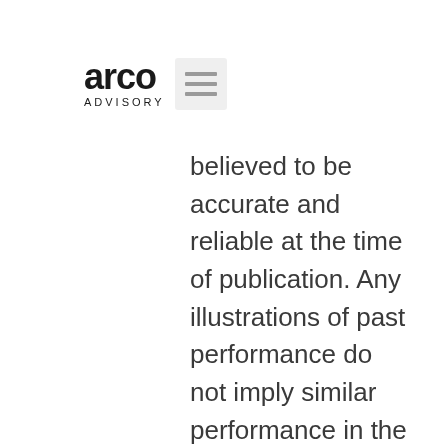[Figure (logo): Arco Advisory logo with stylized text and menu icon]
believed to be accurate and reliable at the time of publication. Any illustrations of past performance do not imply similar performance in the